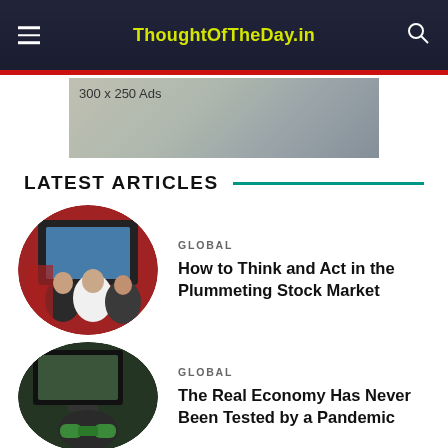ThoughtOfTheDay.in
[Figure (other): Advertisement banner 300 x 250 Ads]
LATEST ARTICLES
[Figure (photo): Circular photo of people watching TV/gaming]
GLOBAL
How to Think and Act in the Plummeting Stock Market
[Figure (photo): Circular photo of person gaming with green controller]
GLOBAL
The Real Economy Has Never Been Tested by a Pandemic